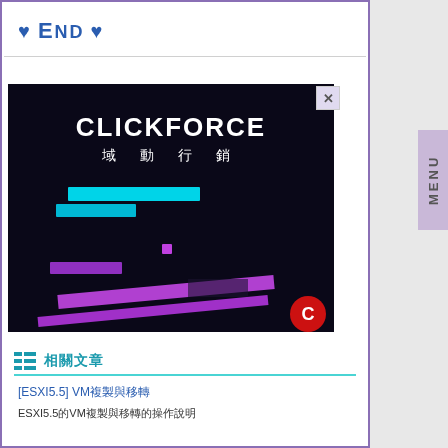♥ END ♥
[Figure (screenshot): CLICKFORCE 域動行銷 advertisement banner with dark background and colorful neon lines (cyan and purple), with a red C logo in bottom right corner and an X close button in top right.]
相關文章
[ESXI5.5] VM複製與移轉
ESXI5.5的VM複製與移轉的操作說明